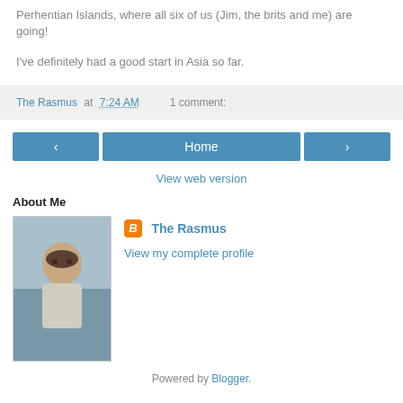Perhentian Islands, where all six of us (Jim, the brits and me) are going!
I've definitely had a good start in Asia so far.
The Rasmus at 7:24 AM   1 comment:
[Figure (screenshot): Navigation bar with left arrow button, Home button, and right arrow button, plus View web version link]
About Me
[Figure (photo): Profile photo of The Rasmus, a person outdoors]
The Rasmus
View my complete profile
Powered by Blogger.